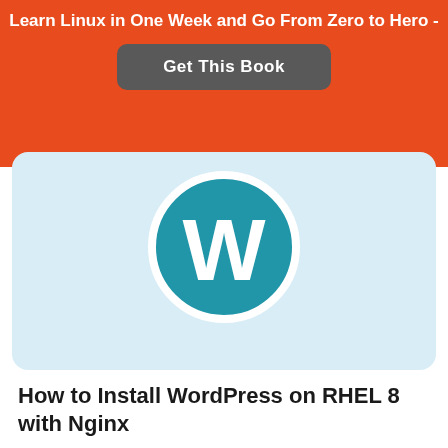Learn Linux in One Week and Go From Zero to Hero -
Get This Book
[Figure (screenshot): WordPress logo on a light blue card background]
How to Install WordPress on RHEL 8 with Nginx
[Figure (screenshot): Green NGINX logo card with white NGINX text]
[Figure (screenshot): Bloomingdales advertisement banner - View Today's Top Deals! SHOP NOW >]